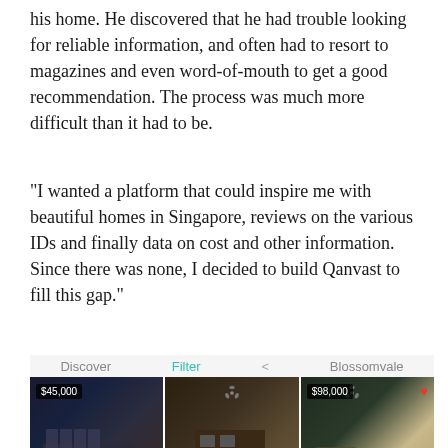his home. He discovered that he had trouble looking for reliable information, and often had to resort to magazines and even word-of-mouth to get a good recommendation. The process was much more difficult than it had to be.
“I wanted a platform that could inspire me with beautiful homes in Singapore, reviews on the various IDs and finally data on cost and other information. Since there was none, I decided to build Qanvast to fill this gap.”
[Figure (screenshot): App screenshot showing a Discover/Filter/Blossomvale navigation bar and a horizontal strip of three interior design photos with price tags ($45,000 and $98,000) and a caption 'Blackjack Interior, Yishun (Orchid Spring) HDB 3-room, 80m2']